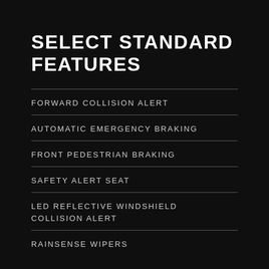SELECT STANDARD FEATURES
FORWARD COLLISION ALERT
AUTOMATIC EMERGENCY BRAKING
FRONT PEDESTRIAN BRAKING
SAFETY ALERT SEAT
LED REFLECTIVE WINDSHIELD COLLISION ALERT
RAINSENSE WIPERS